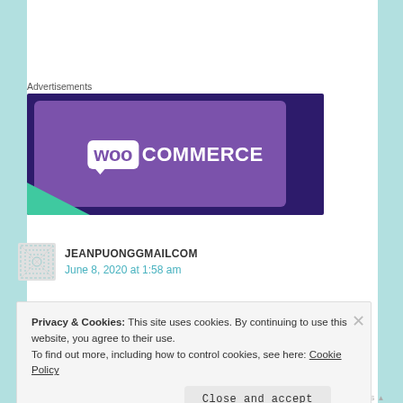Advertisements
[Figure (logo): WooCommerce advertisement banner with purple background, teal accent, and WooCommerce logo in white]
JEANPUONGGMAILCOM
June 8, 2020 at 1:58 am
Privacy & Cookies: This site uses cookies. By continuing to use this website, you agree to their use.
To find out more, including how to control cookies, see here: Cookie Policy
Close and accept